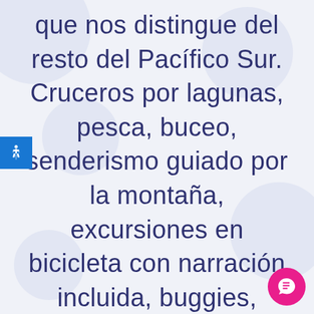que nos distingue del resto del Pacífico Sur. Cruceros por lagunas, pesca, buceo, senderismo guiado por la montaña, excursiones en bicicleta con narración incluida, buggies, quads o viajes en 4x4 al interior... lo tenemos todo. La diversida